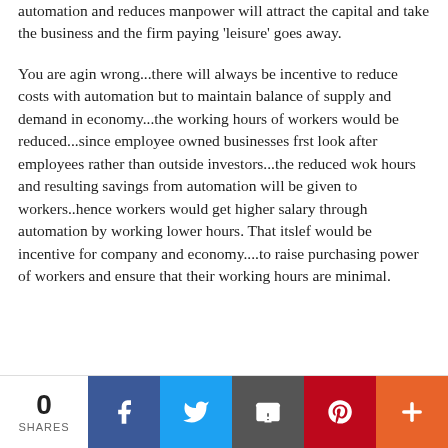automation and reduces manpower will attract the capital and take the business and the firm paying 'leisure' goes away.
You are agin wrong...there will always be incentive to reduce costs with automation but to maintain balance of supply and demand in economy...the working hours of workers would be reduced...since employee owned businesses frst look after employees rather than outside investors...the reduced wok hours and resulting savings from automation will be given to workers..hence workers would get higher salary through automation by working lower hours. That itslef would be incentive for company and economy....to raise purchasing power of workers and ensure that their working hours are minimal.
0 SHARES | Facebook | Twitter | Email | Pinterest | More